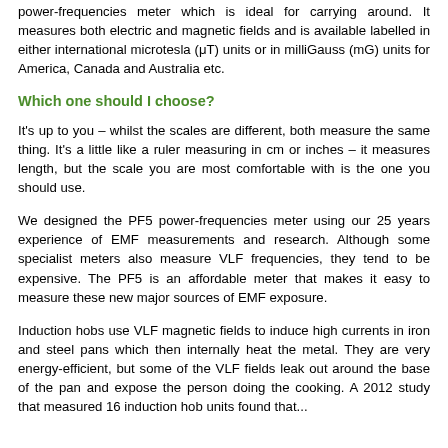power-frequencies meter which is ideal for carrying around. It measures both electric and magnetic fields and is available labelled in either international microtesla (μT) units or in milliGauss (mG) units for America, Canada and Australia etc.
Which one should I choose?
It's up to you – whilst the scales are different, both measure the same thing. It's a little like a ruler measuring in cm or inches – it measures length, but the scale you are most comfortable with is the one you should use.
We designed the PF5 power-frequencies meter using our 25 years experience of EMF measurements and research. Although some specialist meters also measure VLF frequencies, they tend to be expensive. The PF5 is an affordable meter that makes it easy to measure these new major sources of EMF exposure.
Induction hobs use VLF magnetic fields to induce high currents in iron and steel pans which then internally heat the metal. They are very energy-efficient, but some of the VLF fields leak out around the base of the pan and expose the person doing the cooking. A 2012 study that measured 16 induction hob units found that...